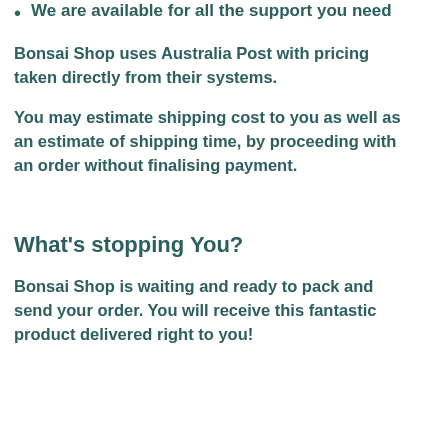We are available for all the support you need
Bonsai Shop uses Australia Post with pricing taken directly from their systems.
You may estimate shipping cost to you as well as an estimate of shipping time, by proceeding with an order without finalising payment.
What's stopping You?
Bonsai Shop is waiting and ready to pack and send your order. You will receive this fantastic product delivered right to you!